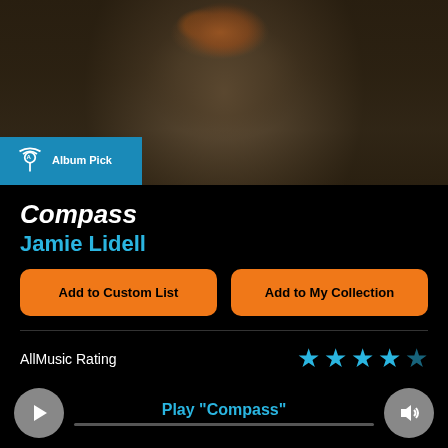[Figure (photo): Album art for Compass by Jamie Lidell showing a dark portrait of a man's face/torso with an 'Album Pick' badge overlay in blue]
Compass
Jamie Lidell
Add to Custom List
Add to My Collection
AllMusic Rating
User Ratings (98)
Your Rating
Play "Compass"